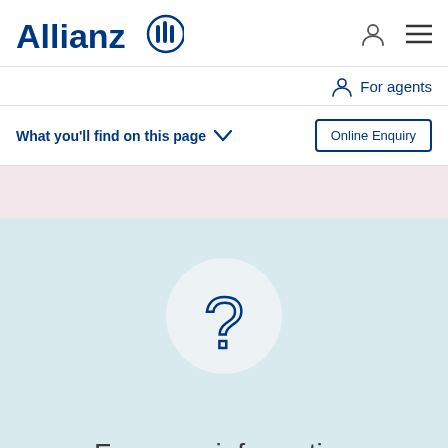[Figure (logo): Allianz logo with eagle emblem in blue]
For agents
What you'll find on this page
Online Enquiry
[Figure (illustration): Blue question mark icon inside a light grey circle on a light blue background]
For more information